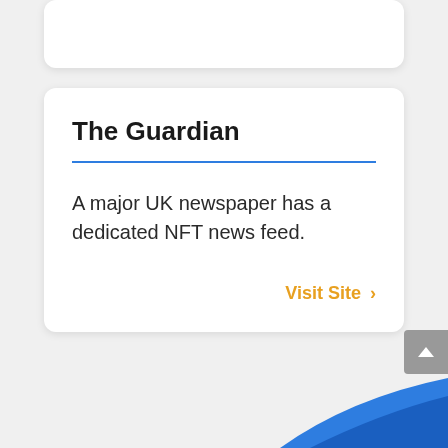The Guardian
A major UK newspaper has a dedicated NFT news feed.
Visit Site ›